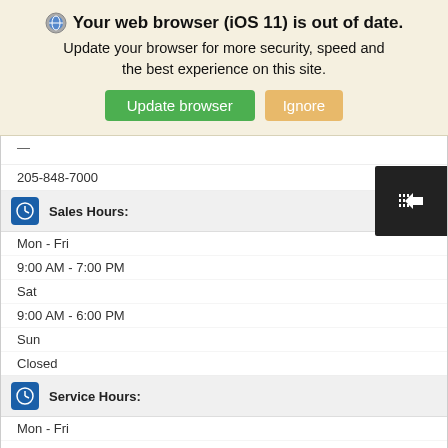Your web browser (iOS 11) is out of date. Update your browser for more security, speed and the best experience on this site.
205-848-7000
Sales Hours:
Mon - Fri
9:00 AM - 7:00 PM
Sat
9:00 AM - 6:00 PM
Sun
Closed
Service Hours:
Mon - Fri
7:00 AM - 6:00 PM
Sat
8:00 AM - 4:00 PM
Sun